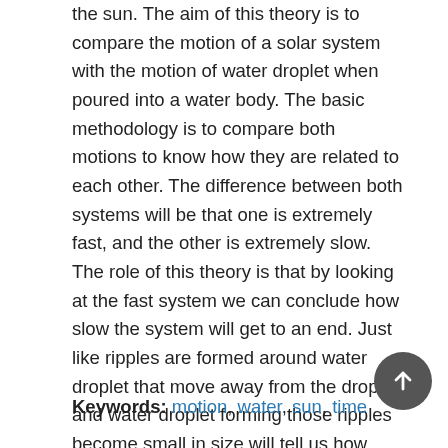the sun. The aim of this theory is to compare the motion of a solar system with the motion of water droplet when poured into a water body. The basic methodology is to compare both motions to know how they are related to each other. The difference between both systems will be that one is extremely fast, and the other is extremely slow. The role of this theory is that by looking at the fast system we can conclude how slow the system will get to an end. Just like ripples are formed around water droplet that move away from the droplet and water droplet forming those ripples become small in size will tell us how solar system will behave in the same way. So it is concluded that large and small systems can work under the same process but with different motions of time, and motion of the solar system is the slowest form of water droplet motion.
Keywords: motion, water, sun, time